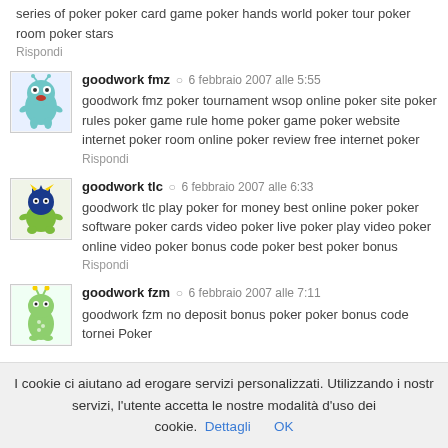series of poker poker card game poker hands world poker tour poker room poker stars
Rispondi
goodwork fmz · 6 febbraio 2007 alle 5:55
goodwork fmz poker tournament wsop online poker site poker rules poker game rule home poker game poker website internet poker room online poker review free internet poker
Rispondi
goodwork tlc · 6 febbraio 2007 alle 6:33
goodwork tlc play poker for money best online poker poker software poker cards video poker live poker play video poker online video poker bonus code poker best poker bonus
Rispondi
goodwork fzm · 6 febbraio 2007 alle 7:11
goodwork fzm no deposit bonus poker poker bonus code tornei Poker
I cookie ci aiutano ad erogare servizi personalizzati. Utilizzando i nostri servizi, l'utente accetta le nostre modalità d'uso dei cookie. Dettagli OK